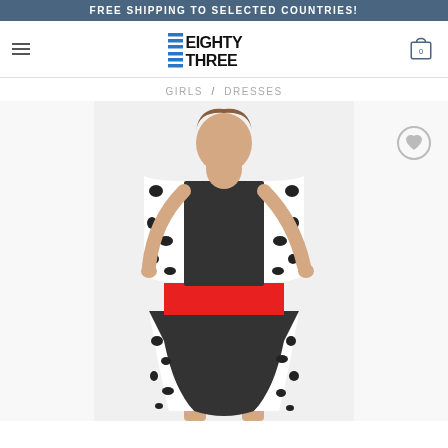FREE SHIPPING TO SELECTED COUNTRIES!
[Figure (logo): Eighty Three brand logo with blue horizontal stripes and bold black text]
GIRLS / DRESSES
[Figure (photo): Girl wearing a Dalmatian print dress with black center panel and red waistband]